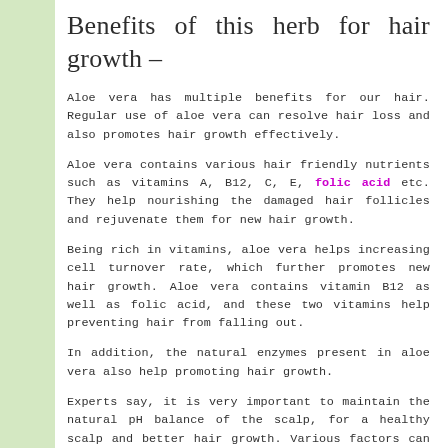Benefits of this herb for hair growth –
Aloe vera has multiple benefits for our hair. Regular use of aloe vera can resolve hair loss and also promotes hair growth effectively.
Aloe vera contains various hair friendly nutrients such as vitamins A, B12, C, E, folic acid etc. They help nourishing the damaged hair follicles and rejuvenate them for new hair growth.
Being rich in vitamins, aloe vera helps increasing cell turnover rate, which further promotes new hair growth. Aloe vera contains vitamin B12 as well as folic acid, and these two vitamins help preventing hair from falling out.
In addition, the natural enzymes present in aloe vera also help promoting hair growth.
Experts say, it is very important to maintain the natural pH balance of the scalp, for a healthy scalp and better hair growth. Various factors can disrupt the pH balance and cause severe hair problems, including hair loss.